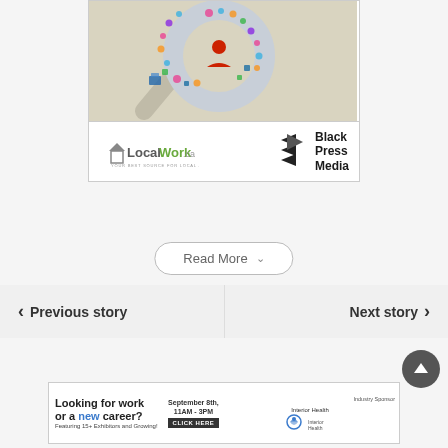[Figure (illustration): LocalWork.ca advertisement with magnifying glass illustration made of colorful icons, and Black Press Media logo. Tagline: YOUR BEST SOURCE FOR LOCAL JOBS]
Read More
< Previous story
Next story >
[Figure (infographic): Advertisement banner: Looking for work or a new career? Featuring 15+ Exhibitors and Growing! September 8th, 11AM-3PM. CLICK HERE. Industry Sponsor: Interior Health logo.]